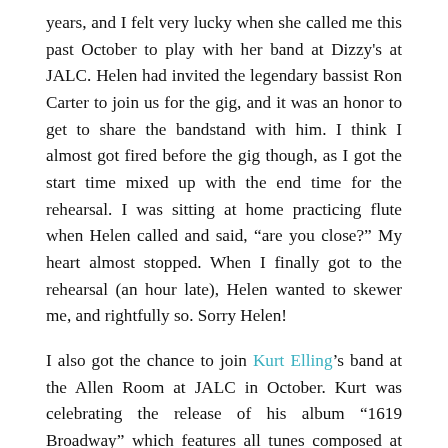years, and I felt very lucky when she called me this past October to play with her band at Dizzy's at JALC. Helen had invited the legendary bassist Ron Carter to join us for the gig, and it was an honor to get to share the bandstand with him. I think I almost got fired before the gig though, as I got the start time mixed up with the end time for the rehearsal. I was sitting at home practicing flute when Helen called and said, “are you close?” My heart almost stopped. When I finally got to the rehearsal (an hour late), Helen wanted to skewer me, and rightfully so. Sorry Helen!
I also got the chance to join Kurt Elling’s band at the Allen Room at JALC in October. Kurt was celebrating the release of his album “1619 Broadway” which features all tunes composed at the legendary Brill Building. I’ve been a fan of Kurt’s for a long time, and we even recorded together on Charlie Hunter’s “Songs From The Analog Playground”, but this was my first time playing with him live. His intonation is laser precise, and his range, both melodically, and